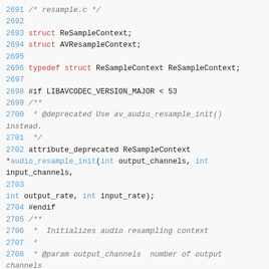2691 /* resample.c */
2692
2693 struct ReSampleContext;
2694 struct AVResampleContext;
2695
2696 typedef struct ReSampleContext ReSampleContext;
2697
2698 #if LIBAVCODEC_VERSION_MAJOR < 53
2699 /**
2700  * @deprecated Use av_audio_resample_init() instead.
2701  */
2702 attribute_deprecated ReSampleContext *audio_resample_init(int output_channels, int input_channels,
2703
int output_rate, int input_rate);
2704 #endif
2705 /**
2706  *  Initializes audio resampling context
2707  *
2708  * @param output_channels  number of output channels
2709  * @param input_channels   number of input channels